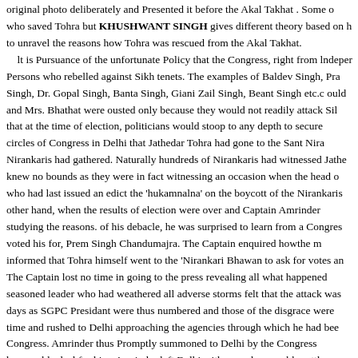original photo deliberately and Presented it before the Akal Takhat . Some o who saved Tohra but KHUSHWANT SINGH gives different theory based on h to unravel the reasons how Tohra was rescued from the Akal Takhat. It is Pursuance of the unfortunate Policy that the Congress, right from Indeper Persons who rebelled against Sikh tenets. The examples of Baldev Singh, Pre Singh, Dr. Gopal Singh, Banta Singh, Giani Zail Singh, Beant Singh etc.c ould and Mrs. Bhathat were ousted only because they would not readily attack Sil that at the time of election, politicians would stoop to any depth to secure circles of Congress in Delhi that Jathedar Tohra had gone to the Sant Nira Nirankaris had gathered. Naturally hundreds of Nirankaris had witnessed Jathe knew no bounds as they were in fact witnessing an occasion when the head o who had last issued an edict the 'hukamnalna' on the boycott of the Nirankaris other hand, when the results of election were over and Captain Amrinder studying the reasons. of his debacle, he was surprised to learn from a Congres voted his for, Prem Singh Chandumajra. The Captain enquired howthe m informed that Tohra himself went to the 'Nirankari Bhawan to ask for votes an The Captain lost no time in going to the press revealing all what happened seasoned leader who had weathered all adverse storms felt that the attack was days as SGPC Presidant were thus numbered and those of the disgrace were time and rushed to Delhi approaching the agencies through which he had bee Congress. Amrinder thus Promptly summoned to Delhi by the Congress honourable deal for him. Amrinder left Delhi with some honourable settl Nirankaris were told to behave responsibly in the interest of the country. Acc Patiala was summoned at Delhi by Baba Hardev Singh and instructed suitab members not to embarrass Tohra and nobody should tell any one that Tohra h